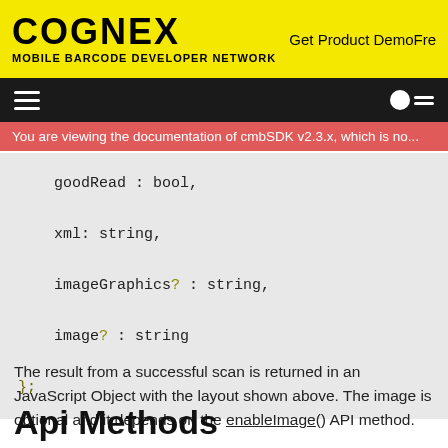COGNEX MOBILE BARCODE DEVELOPER NETWORK | Get Product DemoFre
You are viewing the documentation of cmbSDK v2.3.x, which is no...
goodRead : bool,
    xml: string,
    imageGraphics? : string,
    image? : string
};
The result from a successful scan is returned in an JavaScript Object with the layout shown above. The image is optional and it depends on the enableImage() API method.
Api Methods